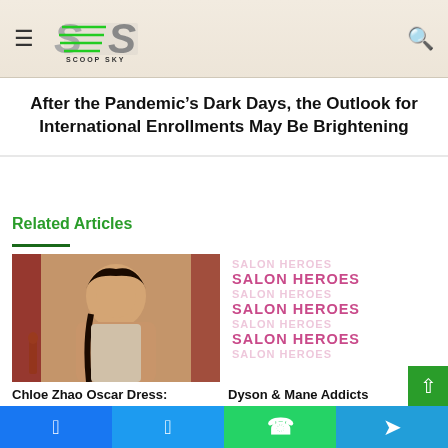Scoop Sky
After the Pandemic’s Dark Days, the Outlook for International Enrollments May Be Brightening
Related Articles
[Figure (photo): Photo of Chloe Zhao at Oscars red carpet]
Chloe Zhao Oscar Dress:
[Figure (illustration): Salon Heroes text repeated in pink/magenta bold typography]
Dyson & Mane Addicts
Facebook Twitter WhatsApp Telegram social share buttons